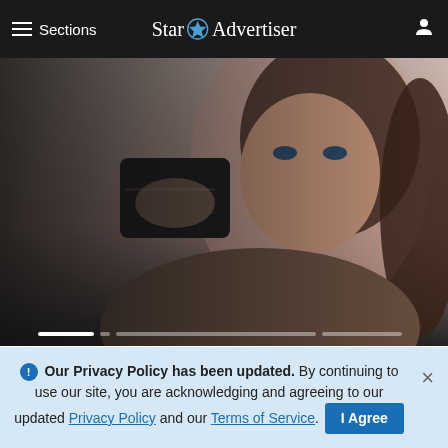≡ Sections   Star Advertiser
[Figure (photo): Young woman with brown hair holding up a black credit card against a light background]
Hands Down The Top Credit Card Of
in Europe league
Star-Advertiser
[Figure (photo): Sandy desert scene with a hat, partially visible]
Our Privacy Policy has been updated. By continuing to use our site, you are acknowledging and agreeing to our updated Privacy Policy and our Terms of Service. I Agree